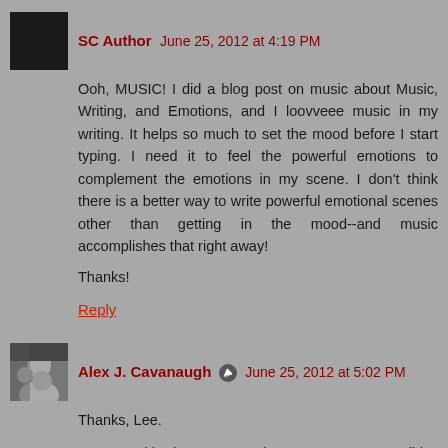SC Author   June 25, 2012 at 4:19 PM
Ooh, MUSIC! I did a blog post on music about Music, Writing, and Emotions, and I loovveee music in my writing. It helps so much to set the mood before I start typing. I need it to feel the powerful emotions to complement the emotions in my scene. I don't think there is a better way to write powerful emotional scenes other than getting in the mood--and music accomplishes that right away!
Thanks!
Reply
Alex J. Cavanaugh   June 25, 2012 at 5:02 PM
Thanks, Lee.
Donna, with that one coming out so soon, I didn't bother.
Mary, the sequels were awful, weren't they?
Jaybird, thank you! So glad you enjoyed it. And yes, I really